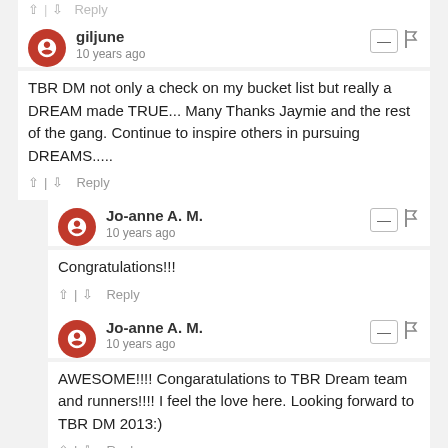↑ | ↓  Reply
giljune
10 years ago
TBR DM not only a check on my bucket list but really a DREAM made TRUE... Many Thanks Jaymie and the rest of the gang. Continue to inspire others in pursuing DREAMS.....
↑ | ↓  Reply
Jo-anne A. M.
10 years ago
Congratulations!!!
↑ | ↓  Reply
Jo-anne A. M.
10 years ago
AWESOME!!!! Congaratulations to TBR Dream team and runners!!!! I feel the love here. Looking forward to TBR DM 2013:)
↑ | ↓  Reply
Goldy dela Cruz